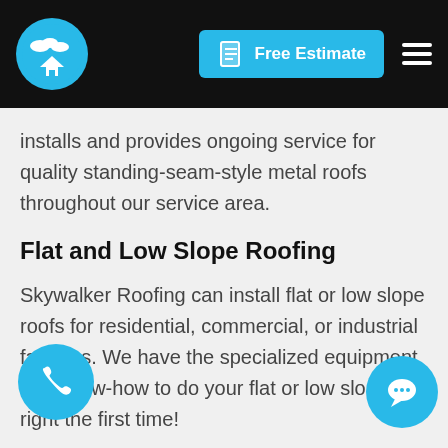Free Estimate
installs and provides ongoing service for quality standing-seam-style metal roofs throughout our service area.
Flat and Low Slope Roofing
Skywalker Roofing can install flat or low slope roofs for residential, commercial, or industrial facilities. We have the specialized equipment and know-how to do your flat or low slope roof right the first time!
Tile Roofing
st common roofing material used in the world today, clay tiles are a classic, traditional style and